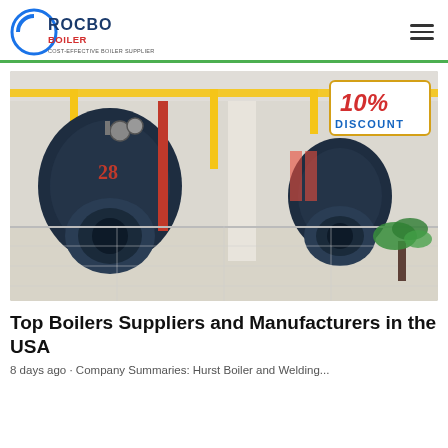ROCBO BOILER — COST-EFFECTIVE BOILER SUPPLIER
[Figure (photo): Industrial boiler room with two large dark-blue horizontal fire-tube boilers with burners, yellow gas piping overhead, white pillars, tiled floor, and a plant in the corner. A promotional badge in the top-right reads '10% DISCOUNT'.]
Top Boilers Suppliers and Manufacturers in the USA
8 days ago · Company Summaries: Hurst Boiler and Welding...